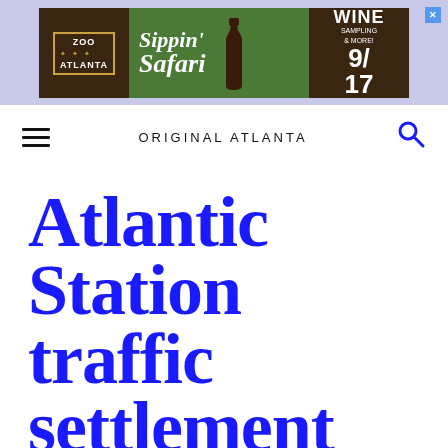[Figure (screenshot): Zoo Atlanta Sippin' Safari wine sampling advertisement banner, dated 9/17]
ORIGINAL ATLANTA
Atlantic Station traffic settlement bittersweet